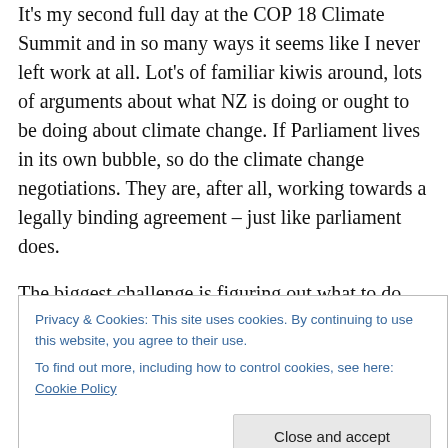It's my second full day at the COP 18 Climate Summit and in so many ways it seems like I never left work at all. Lot's of familiar kiwis around, lots of arguments about what NZ is doing or ought to be doing about climate change. If Parliament lives in its own bubble, so do the climate change negotiations. They are, after all, working towards a legally binding agreement – just like parliament does.
The biggest challenge is figuring out what to do. Should I go listen to Naomi Klein talk about climate justice or listen to the world's best experts on REDD? (I chose Naomi.) Some sessions are a feast, others a famine.
Privacy & Cookies: This site uses cookies. By continuing to use this website, you agree to their use. To find out more, including how to control cookies, see here: Cookie Policy
than the line they're being fed.